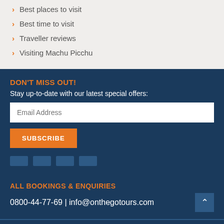Best places to visit
Best time to visit
Traveller reviews
Visiting Machu Picchu
DON'T MISS OUT!
Stay up-to-date with our latest special offers:
Email Address
SUBSCRIBE
ALL BOOKINGS & ENQUIRIES
0800-44-77-69  |  info@onthegotours.com
Call Us Now: 0800-44-77-69